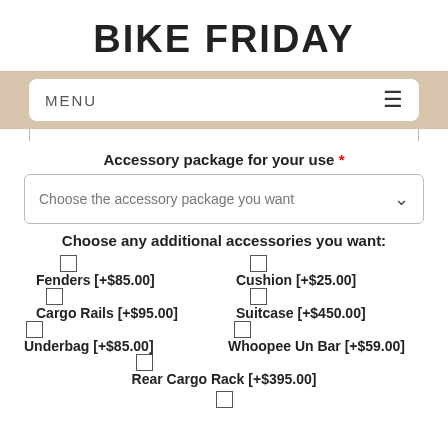BIKE FRIDAY
MENU
Accessory package for your use *
Choose the accessory package you want
Choose any additional accessories you want:
Fenders [+$85.00]
Cushion [+$25.00]
Cargo Rails [+$95.00]
Suitcase [+$450.00]
Underbag [+$85.00]
Whoopee Un Bar [+$59.00]
Rear Cargo Rack [+$395.00]